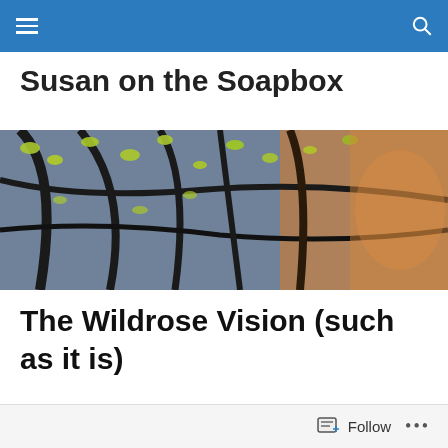Navigation bar with menu and search icons
Susan on the Soapbox
[Figure (photo): A nature photo showing tree branches with small green leaves reflected on water, with orange/gold tones on the right side.]
The Wildrose Vision (such as it is)
Brian Jean, leader of the Wildrose party, has a vision for uniting Alberta's conservatives.
Follow button bar